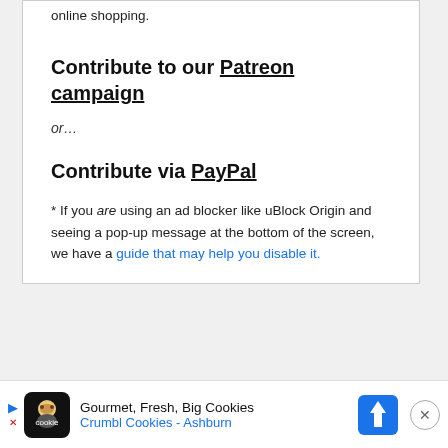online shopping.
Contribute to our Patreon campaign
or…
Contribute via PayPal
* If you are using an ad blocker like uBlock Origin and seeing a pop-up message at the bottom of the screen, we have a guide that may help you disable it.
[Figure (infographic): Advertisement bar at bottom: Crumbl Cookies - Ashburn. Shows cookie mascot logo, navigation arrows, map pin icon, and close button.]